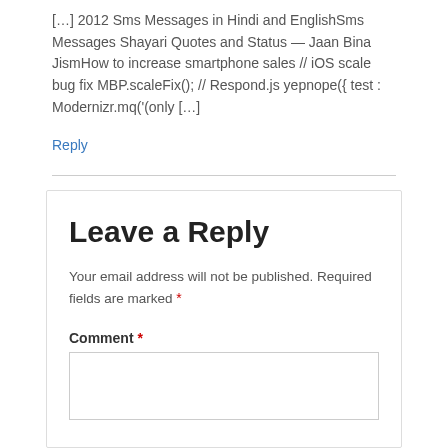[…] 2012 Sms Messages in Hindi and EnglishSms Messages Shayari Quotes and Status — Jaan Bina JismHow to increase smartphone sales // iOS scale bug fix MBP.scaleFix(); // Respond.js yepnope({ test : Modernizr.mq('(only […]
Reply
Leave a Reply
Your email address will not be published. Required fields are marked *
Comment *